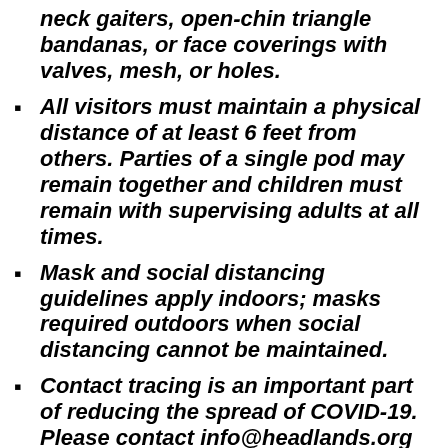neck gaiters, open-chin triangle bandanas, or face coverings with valves, mesh, or holes.
All visitors must maintain a physical distance of at least 6 feet from others. Parties of a single pod may remain together and children must remain with supervising adults at all times.
Mask and social distancing guidelines apply indoors; masks required outdoors when social distancing cannot be maintained.
Contact tracing is an important part of reducing the spread of COVID-19. Please contact info@headlands.org if you test positive for COVID-19 or experience COVID-19 symptoms